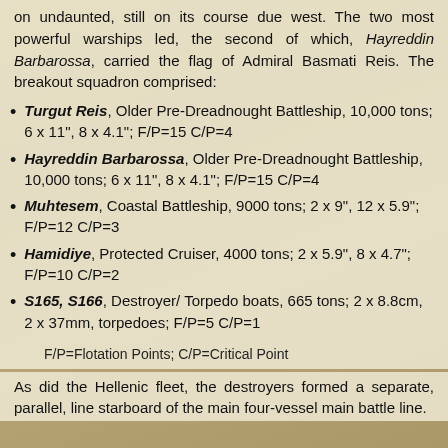on undaunted, still on its course due west. The two most powerful warships led, the second of which, Hayreddin Barbarossa, carried the flag of Admiral Basmati Reis. The breakout squadron comprised:
Turgut Reis, Older Pre-Dreadnought Battleship, 10,000 tons; 6 x 11", 8 x 4.1"; F/P=15 C/P=4
Hayreddin Barbarossa, Older Pre-Dreadnought Battleship, 10,000 tons; 6 x 11", 8 x 4.1"; F/P=15 C/P=4
Muhtesem, Coastal Battleship, 9000 tons; 2 x 9", 12 x 5.9"; F/P=12 C/P=3
Hamidiye, Protected Cruiser, 4000 tons; 2 x 5.9", 8 x 4.7"; F/P=10 C/P=2
S165, S166, Destroyer/ Torpedo boats, 665 tons; 2 x 8.8cm, 2 x 37mm, torpedoes; F/P=5 C/P=1
F/P=Flotation Points; C/P=Critical Point
As did the Hellenic fleet, the destroyers formed a separate, parallel, line starboard of the main four-vessel main battle line.